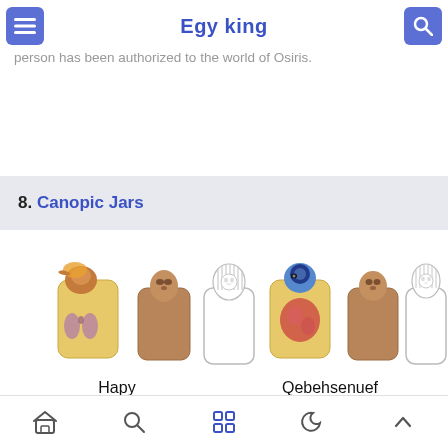Egy king
monster. If the heart weighs less than the feather, it means that the heart weighed in his sins and the person has been authorized to the world of Osiris.
8. Canopic Jars
[Figure (illustration): Six canopic jars shown in two groups of three. Left group labeled Hapy, right group labeled Qebehsenuef. Jars show baboon-headed, human-headed, and jackal-headed lids with internal organ illustrations (lungs and intestines visible in open jars).]
Home | Search | Apps | Moon | Up